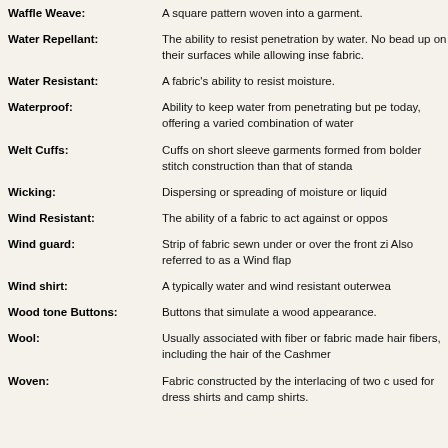Waffle Weave: A square pattern woven into a garment.
Water Repellant: The ability to resist penetration by water. Not bead up on their surfaces while allowing inse fabric.
Water Resistant: A fabric's ability to resist moisture.
Waterproof: Ability to keep water from penetrating but pe today, offering a varied combination of water
Welt Cuffs: Cuffs on short sleeve garments formed from bolder stitch construction than that of standa
Wicking: Dispersing or spreading of moisture or liquid
Wind Resistant: The ability of a fabric to act against or oppos
Wind guard: Strip of fabric sewn under or over the front zi Also referred to as a Wind flap
Wind shirt: A typically water and wind resistant outerwea
Wood tone Buttons: Buttons that simulate a wood appearance.
Wool: Usually associated with fiber or fabric made hair fibers, including the hair of the Cashmer
Woven: Fabric constructed by the interlacing of two c used for dress shirts and camp shirts.